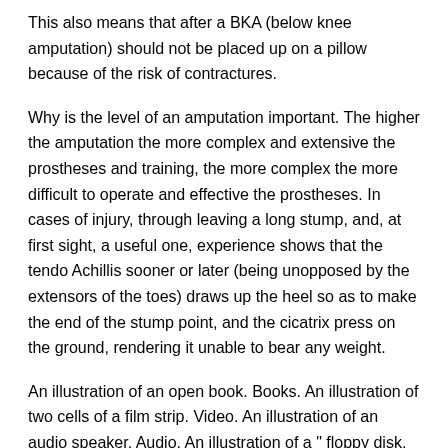This also means that after a BKA (below knee amputation) should not be placed up on a pillow because of the risk of contractures.
Why is the level of an amputation important. The higher the amputation the more complex and extensive the prostheses and training, the more complex the more difficult to operate and effective the prostheses. In cases of injury, through leaving a long stump, and, at first sight, a useful one, experience shows that the tendo Achillis sooner or later (being unopposed by the extensors of the toes) draws up the heel so as to make the end of the stump point, and the cicatrix press on the ground, rendering it unable to bear any weight.
An illustration of an open book. Books. An illustration of two cells of a film strip. Video. An illustration of an audio speaker. Audio. An illustration of a " floppy disk. Software. An illustration of two photographs. Images. An illustration of a heart shape Donate. An illustration of text ellipses.
Full text of "Royal naval biography, or, Memoirs of the services of all the flag-officers, superannuated rear-admirals, retired-captains, post-